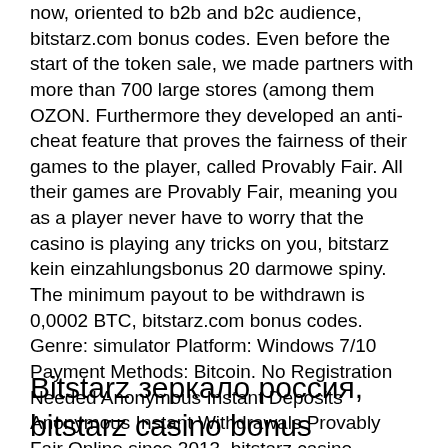now, oriented to b2b and b2c audience, bitstarz.com bonus codes. Even before the start of the token sale, we made partners with more than 700 large stores (among them OZON. Furthermore they developed an anti-cheat feature that proves the fairness of their games to the player, called Provably Fair. All their games are Provably Fair, meaning you as a player never have to worry that the casino is playing any tricks on you, bitstarz kein einzahlungsbonus 20 darmowe spiny. The minimum payout to be withdrawn is 0,0002 BTC, bitstarz.com bonus codes. Genre: simulator Platform: Windows 7/10 Payment Methods: Bitcoin. No Registration Needed Anonymous Instant Deposits Anonymous Instant Withdrawals Provably Fair Online since 2013, bitstarz casino зеркало. By Bitcoin Video Casino.
Bitstarz зеркало россия, bitstarz casino bonus